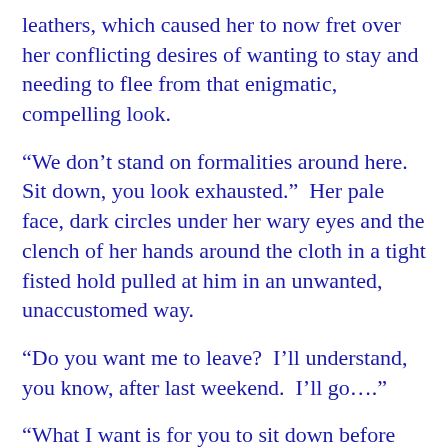leathers, which caused her to now fret over her conflicting desires of wanting to stay and needing to flee from that enigmatic, compelling look.
“We don’t stand on formalities around here.  Sit down, you look exhausted.”  Her pale face, dark circles under her wary eyes and the clench of her hands around the cloth in a tight fisted hold pulled at him in an unwanted, unaccustomed way.
“Do you want me to leave?  I’ll understand, you know, after last weekend.  I’ll go….”
“What I want is for you to sit down before you fall down,” he snapped, her heightened anxiety saying more than her words.  Remembering how Pam dealt with Sean and how well his discipline had worked on Shea last week tempted him to go that route now, to give her what she was in dire need of from the looks of her and his kitchen.  Of